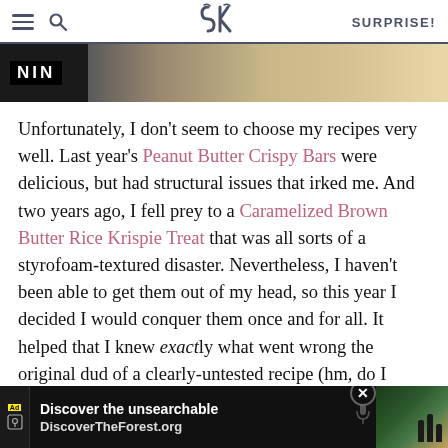SK logo | SURPRISE!
[Figure (photo): Hero image of food (rice krispie treats) with NIN logo overlay on dark background]
Unfortunately, I don't seem to choose my recipes very well. Last year's Peanut Butter Crispy Bars were delicious, but had structural issues that irked me. And two years ago, I fell prey to a Caramelized Brown Butter Rice Krispie Treat that was all sorts of a styrofoam-textured disaster. Nevertheless, I haven't been able to get them out of my head, so this year I decided I would conquer them once and for all. It helped that I knew exactly what went wrong the original dud of a clearly-untested recipe (hm, do I sound bitter?): the cereal to marshmallow ratio was unfeasibly high, more than double [obscured] il — marshr[obscured] ould
[Figure (screenshot): Advertisement banner: Discover the unsearchable - DiscoverTheForest.org with forest photo and close button]